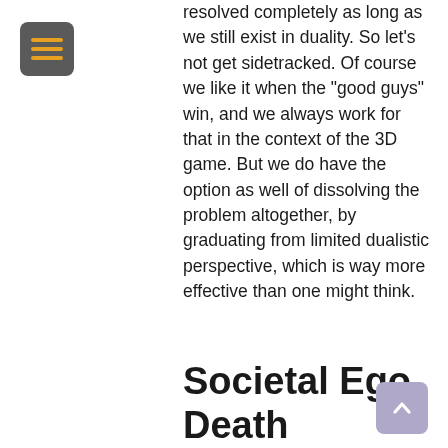[Figure (other): Hamburger menu button icon — dark grey rounded square with three horizontal yellow/amber lines]
resolved completely as long as we still exist in duality. So let’s not get sidetracked. Of course we like it when the “good guys” win, and we always work for that in the context of the 3D game. But we do have the option as well of dissolving the problem altogether, by graduating from limited dualistic perspective, which is way more effective than one might think.
Societal Ego Death
The combination of Pluto (death) and Saturn (ego, political establishment) can also manifest on a personal level as ego
[Figure (other): Scroll-to-top button — light purple/lavender rounded square with upward chevron arrow]